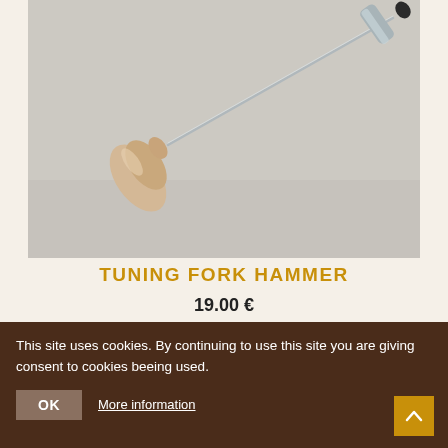[Figure (photo): Close-up photo of a tuning fork hammer with a wooden teardrop-shaped handle and a long thin metal rod on a light grey background]
TUNING FORK HAMMER
19.00 €
This site uses cookies. By continuing to use this site you are giving consent to cookies beeing used.
OK   More information